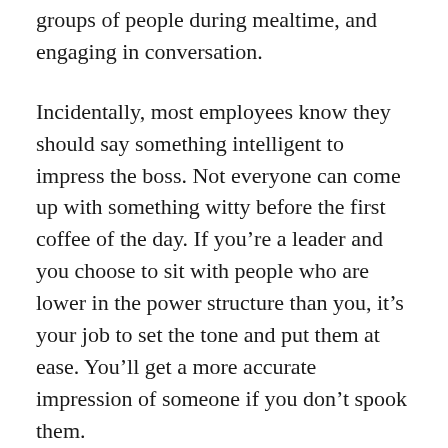groups of people during mealtime, and engaging in conversation.
Incidentally, most employees know they should say something intelligent to impress the boss. Not everyone can come up with something witty before the first coffee of the day. If you’re a leader and you choose to sit with people who are lower in the power structure than you, it’s your job to set the tone and put them at ease. You’ll get a more accurate impression of someone if you don’t spook them.
In‑person retreats are a great way to get a feel for your remote employees, and to course